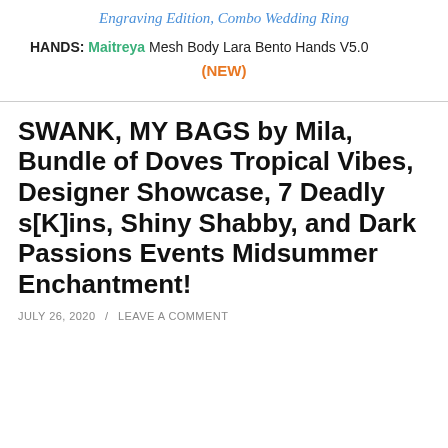Engraving Edition, Combo Wedding Ring
HANDS: Maitreya Mesh Body Lara Bento Hands V5.0 (NEW)
SWANK, MY BAGS by Mila, Bundle of Doves Tropical Vibes, Designer Showcase, 7 Deadly s[K]ins, Shiny Shabby, and Dark Passions Events Midsummer Enchantment!
JULY 26, 2020 / LEAVE A COMMENT